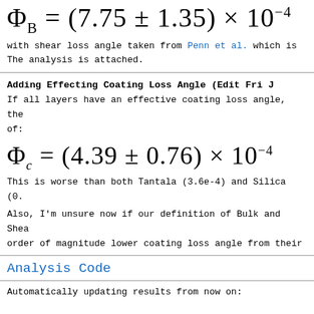with shear loss angle taken from Penn et al. which is
The analysis is attached.
Adding Effecting Coating Loss Angle (Edit Fri J
If all layers have an effective coating loss angle, the
of:
This is worse than both Tantala (3.6e-4) and Silica (0.
Also, I'm unsure now if our definition of Bulk and Shea
order of magnitude lower coating loss angle from their
Analysis Code
Automatically updating results from now on: